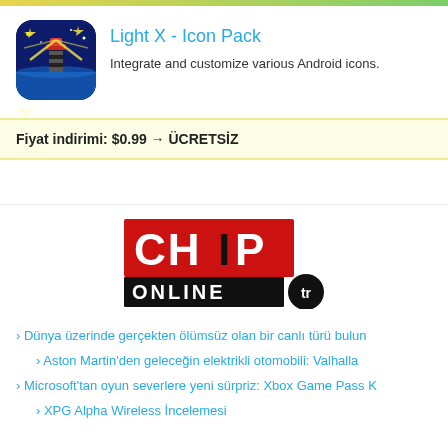[Figure (illustration): App icon for Light X - Icon Pack: dark blue background with lighthouse and yellow star/sparkle design, rounded square shape]
Light X - Icon Pack
Integrate and customize various Android icons.
Fiyat indirimi: $0.99 → ÜCRETSİZ
[Figure (logo): CHIP Online.tr logo - red block letters CHIP on top, black bar with white ONLINE text and black circle with tr text]
› Dünya üzerinde gerçekten ölümsüz olan bir canlı türü bulun
› Aston Martin'den geleceğin elektrikli otomobili: Valhalla
› Microsoft'tan oyun severlere yeni sürpriz: Xbox Game Pass K
› XPG Alpha Wireless İncelemesi